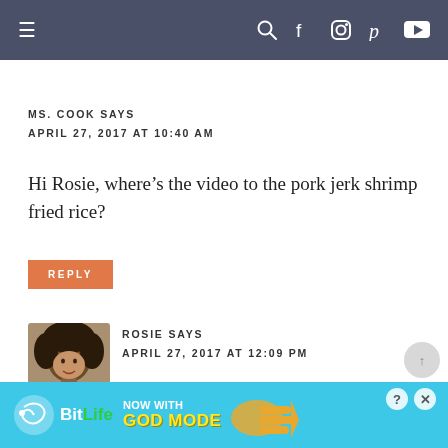Navigation bar with menu, search, Facebook, Instagram, Pinterest, YouTube icons
MS. COOK SAYS
APRIL 27, 2017 AT 10:40 AM
Hi Rosie, where's the video to the pork jerk shrimp fried rice?
REPLY
ROSIE SAYS
APRIL 27, 2017 AT 12:09 PM
[Figure (photo): Profile photo of Rosie, a woman with curly hair]
BitLife – NOW WITH GOD MODE (advertisement)